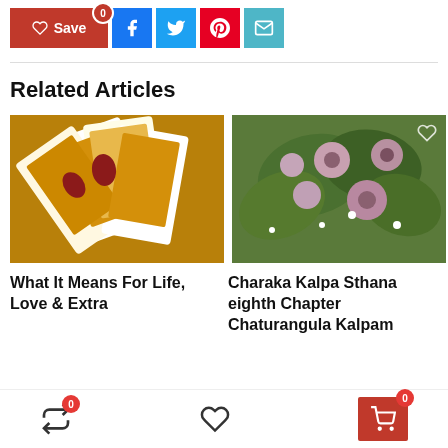[Figure (screenshot): Social sharing buttons: Save (red with heart icon and badge 0), Facebook (blue), Twitter (light blue), Pinterest (red), Email (teal)]
Related Articles
[Figure (photo): Tarot cards spread out showing various Major and Minor Arcana cards with gold and red colors]
What It Means For Life, Love & Extra
[Figure (photo): Close-up of Abutilon plant with pink-purple seed pods and green leaves]
Charaka Kalpa Sthana eighth Chapter Chaturangula Kalpam
[Figure (screenshot): Bottom navigation bar with shuffle icon (badge 0), heart/wishlist icon, and shopping cart button (red, badge 0)]